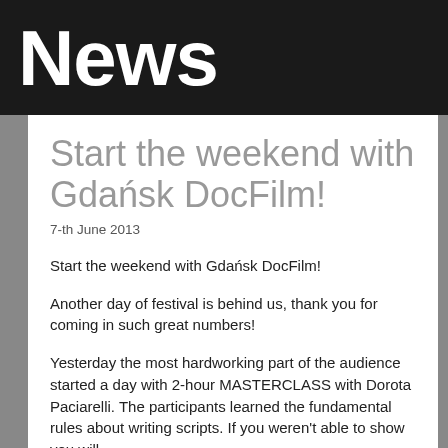News
Start the weekend with Gdańsk DocFilm!
7-th June 2013
Start the weekend with Gdańsk DocFilm!
Another day of festival is behind us, thank you for coming in such great numbers!
Yesterday the most hardworking part of the audience started a day with 2-hour MASTERCLASS with Dorota Paciarelli. The participants learned the fundamental rules about writing scripts. If you weren't able to show you will